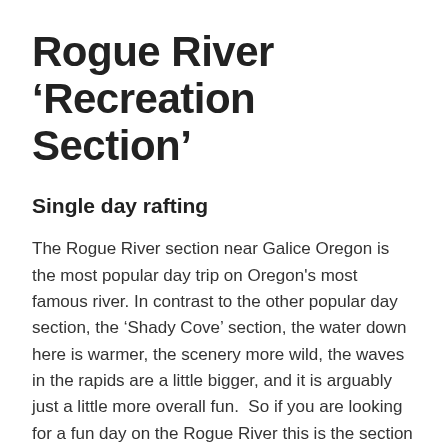Rogue River ‘Recreation Section’
Single day rafting
The Rogue River section near Galice Oregon is the most popular day trip on Oregon's most famous river. In contrast to the other popular day section, the ‘Shady Cove’ section, the water down here is warmer, the scenery more wild, the waves in the rapids are a little bigger, and it is arguably just a little more overall fun.  So if you are looking for a fun day on the Rogue River this is the section to look at.